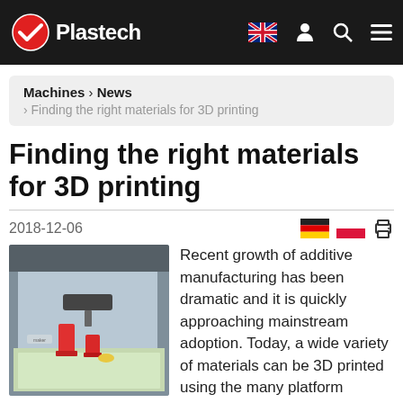Plastech
Machines › News › Finding the right materials for 3D printing
Finding the right materials for 3D printing
2018-12-06
[Figure (photo): A 3D printer printing red objects on a build platform]
Recent growth of additive manufacturing has been dramatic and it is quickly approaching mainstream adoption. Today, a wide variety of materials can be 3D printed using the many platform